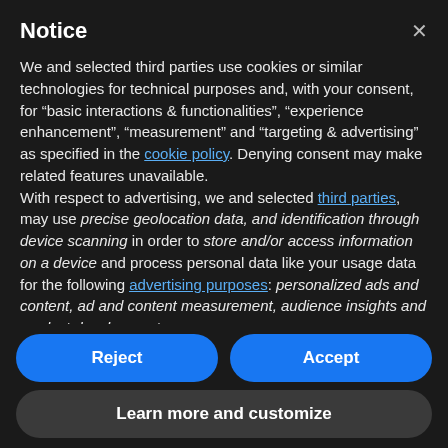Notice
We and selected third parties use cookies or similar technologies for technical purposes and, with your consent, for "basic interactions & functionalities", "experience enhancement", "measurement" and "targeting & advertising" as specified in the cookie policy. Denying consent may make related features unavailable.
With respect to advertising, we and selected third parties, may use precise geolocation data, and identification through device scanning in order to store and/or access information on a device and process personal data like your usage data for the following advertising purposes: personalized ads and content, ad and content measurement, audience insights and product development.
You can freely give, deny, or withdraw your consent at any
Reject
Accept
Learn more and customize